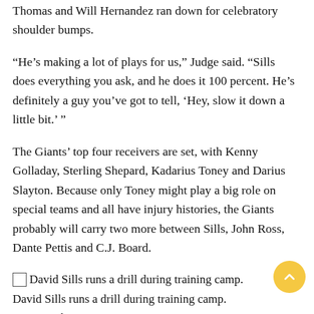Thomas and Will Hernandez ran down for celebratory shoulder bumps.
“He’s making a lot of plays for us,” Judge said. “Sills does everything you ask, and he does it 100 percent. He’s definitely a guy you’ve got to tell, ‘Hey, slow it down a little bit.’ ”
The Giants’ top four receivers are set, with Kenny Golladay, Sterling Shepard, Kadarius Toney and Darius Slayton. Because only Toney might play a big role on special teams and all have injury histories, the Giants probably will carry two more between Sills, John Ross, Dante Pettis and C.J. Board.
[Figure (photo): David Sills runs a drill during training camp.]
David Sills runs a drill during training camp.
Corey Sipkin
“One thing about me being a big receiver is it’s a friendly throw